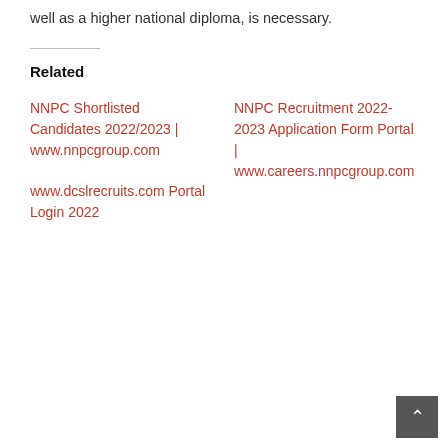well as a higher national diploma, is necessary.
Related
NNPC Shortlisted Candidates 2022/2023 | www.nnpcgroup.com
NNPC Recruitment 2022-2023 Application Form Portal | www.careers.nnpcgroup.com
www.dcslrecruits.com Portal Login 2022